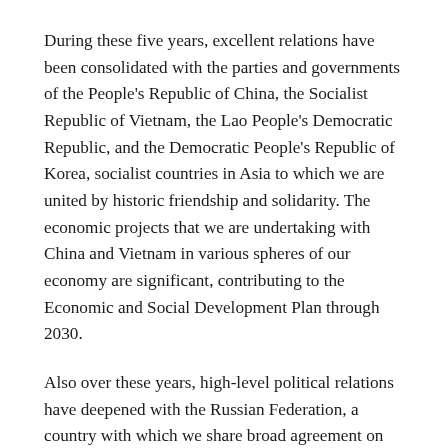During these five years, excellent relations have been consolidated with the parties and governments of the People's Republic of China, the Socialist Republic of Vietnam, the Lao People's Democratic Republic, and the Democratic People's Republic of Korea, socialist countries in Asia to which we are united by historic friendship and solidarity. The economic projects that we are undertaking with China and Vietnam in various spheres of our economy are significant, contributing to the Economic and Social Development Plan through 2030.
Also over these years, high-level political relations have deepened with the Russian Federation, a country with which we share broad agreement on diverse issues of the international agenda, and which has maintained a firm position in opposition to the economic, commercial, and financial blockade imposed by the United States on Cuba.